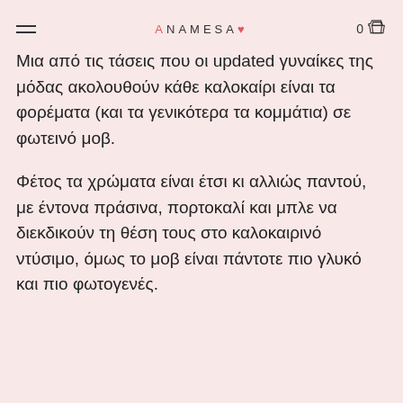ANAMESA ♥  0
Μια από τις τάσεις που οι updated γυναίκες της μόδας ακολουθούν κάθε καλοκαίρι είναι τα φορέματα (και τα γενικότερα τα κομμάτια) σε φωτεινό μοβ.
Φέτος τα χρώματα είναι έτσι κι αλλιώς παντού, με έντονα πράσινα, πορτοκαλί και μπλε να διεκδικούν τη θέση τους στο καλοκαιρινό ντύσιμο, όμως το μοβ είναι πάντοτε πιο γλυκό και πιο φωτογενές.